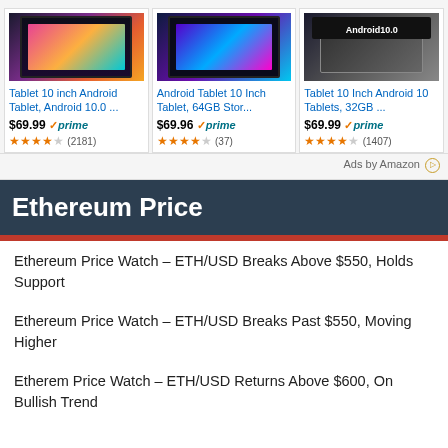[Figure (screenshot): Amazon ad for Tablet 10 inch Android Tablet, Android 10.0 with image of tablet]
Tablet 10 inch Android Tablet, Android 10.0 ...
$69.99 ✓prime
★★★★☆ (2181)
[Figure (screenshot): Amazon ad for Android Tablet 10 Inch Tablet, 64GB Stor... with image of tablet]
Android Tablet 10 Inch Tablet, 64GB Stor...
$69.96 ✓prime
★★★★☆ (37)
[Figure (screenshot): Amazon ad for Tablet 10 Inch Android 10 Tablets, 32GB ... with image showing Android 10.0]
Tablet 10 Inch Android 10 Tablets, 32GB ...
$69.99 ✓prime
★★★★☆ (1407)
Ads by Amazon
Ethereum Price
Ethereum Price Watch – ETH/USD Breaks Above $550, Holds Support
Ethereum Price Watch – ETH/USD Breaks Past $550, Moving Higher
Etherem Price Watch – ETH/USD Returns Above $600, On Bullish Trend